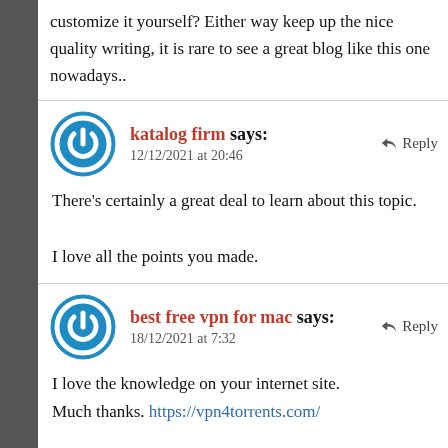customize it yourself? Either way keep up the nice quality writing, it is rare to see a great blog like this one nowadays..
katalog firm says: 12/12/2021 at 20:46 ↩ Reply
There's certainly a great deal to learn about this topic.

I love all the points you made.
best free vpn for mac says: 18/12/2021 at 7:32 ↩ Reply
I love the knowledge on your internet site.
Much thanks. https://vpn4torrents.com/